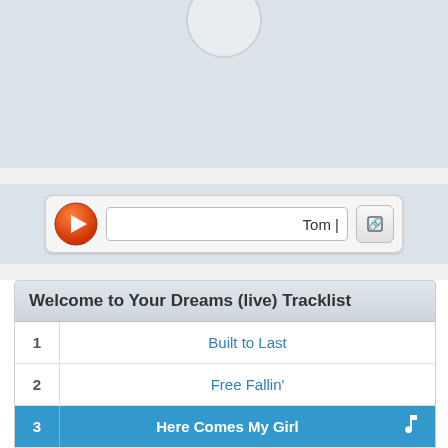[Figure (screenshot): Top section with light blue-gray background and partial circle at top center]
[Figure (screenshot): Music player bar with orange play button, text field showing 'Tom', and share/copy button]
Welcome to Your Dreams (live) Tracklist
1  Built to Last
2  Free Fallin'
3  Here Comes My Girl
4  I Won't Back Down
5  I'm Tired Joey Boy